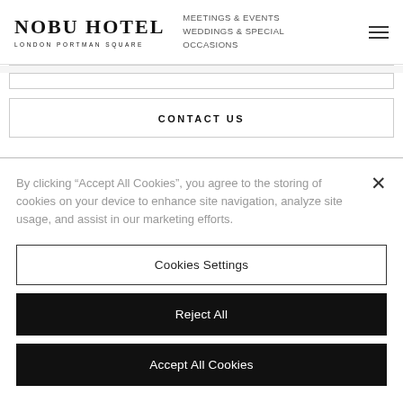[Figure (logo): Nobu Hotel London Portman Square logo with hotel name in serif bold font and location text below]
MEETINGS & EVENTS
WEDDINGS & SPECIAL OCCASIONS
[Figure (other): Hamburger menu icon with three horizontal lines]
CONTACT US
By clicking “Accept All Cookies”, you agree to the storing of cookies on your device to enhance site navigation, analyze site usage, and assist in our marketing efforts.
Cookies Settings
Reject All
Accept All Cookies